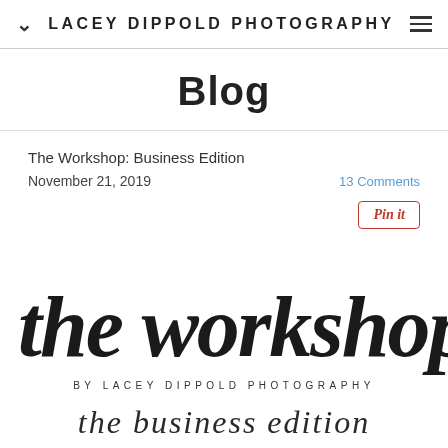LACEY DIPPOLD PHOTOGRAPHY
Blog
The Workshop: Business Edition
November 21, 2019
13 Comments
[Figure (logo): The Workshop by Lacey Dippold Photography logo with script text 'the workshop' and subtitle 'BY LACEY DIPPOLD PHOTOGRAPHY' and cursive text 'the business edition']